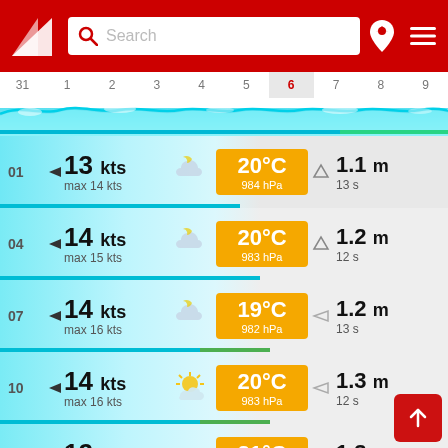[Figure (screenshot): App header with red background, Windy logo (white triangle), search bar, pin icon, and hamburger menu]
31 1 2 3 4 5 6 7 8 9
[Figure (infographic): Wave/wind chart timeline strip with blue wave visualization]
01 ▶ 13 kts max 14 kts [night-cloudy icon] 20°C 984 hPa [wave arrow] 1.1 m 13 s
04 ▶ 14 kts max 15 kts [night-cloudy icon] 20°C 983 hPa [wave arrow] 1.2 m 12 s
07 ▶ 14 kts max 16 kts [night-cloudy icon] 19°C 982 hPa [wave arrow] 1.2 m 13 s
10 ▶ 14 kts max 16 kts [partly-sunny icon] 20°C 983 hPa [wave arrow] 1.3 m 12 s
13 ▶ 12 kts max 13 kts [cloudy icon] 21°C 983 hPa [wave arrow] 1.3 m 12 s